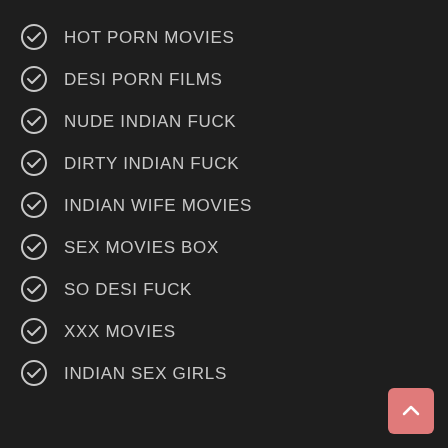HOT PORN MOVIES
DESI PORN FILMS
NUDE INDIAN FUCK
DIRTY INDIAN FUCK
INDIAN WIFE MOVIES
SEX MOVIES BOX
SO DESI FUCK
XXX MOVIES
INDIAN SEX GIRLS